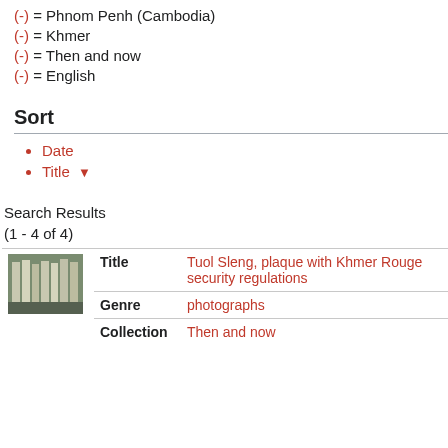(-) = Phnom Penh (Cambodia)
(-) = Khmer
(-) = Then and now
(-) = English
Sort
Date
Title ▾
Search Results
(1 - 4 of 4)
|  | Field | Value |
| --- | --- | --- |
| [image] | Title | Tuol Sleng, plaque with Khmer Rouge security regulations |
|  | Genre | photographs |
|  | Collection | Then and now |